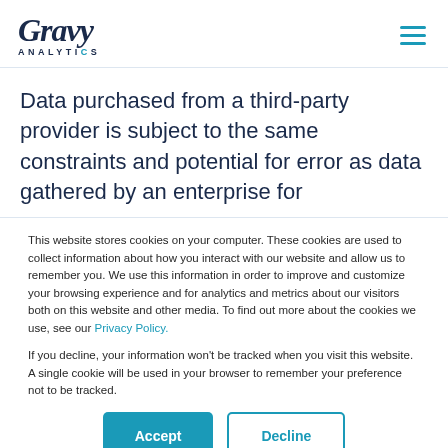Gravy Analytics
Data purchased from a third-party provider is subject to the same constraints and potential for error as data gathered by an enterprise for
This website stores cookies on your computer. These cookies are used to collect information about how you interact with our website and allow us to remember you. We use this information in order to improve and customize your browsing experience and for analytics and metrics about our visitors both on this website and other media. To find out more about the cookies we use, see our Privacy Policy.

If you decline, your information won't be tracked when you visit this website. A single cookie will be used in your browser to remember your preference not to be tracked.